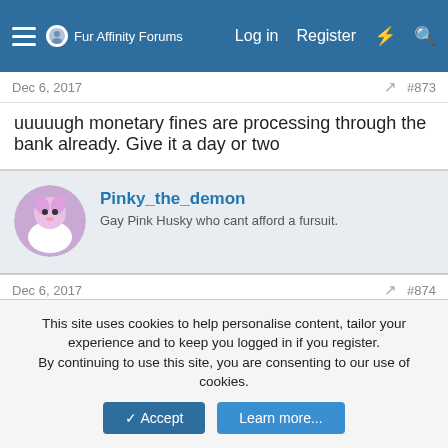Fur Affinity Forums — Log in  Register
Dec 6, 2017  #873
uuuuugh monetary fines are processing through the bank already. Give it a day or two
Pinky_the_demon — Gay Pink Husky who cant afford a fursuit.
Dec 6, 2017  #874
I WIN again
FelixLynx — Well-Known Member
This site uses cookies to help personalise content, tailor your experience and to keep you logged in if you register.
By continuing to use this site, you are consenting to our use of cookies.